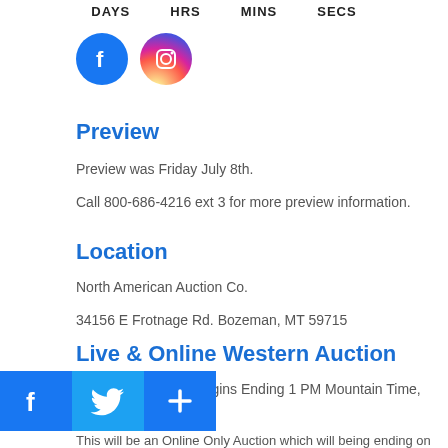DAYS   HRS   MINS   SECS
[Figure (illustration): Social media icons: Facebook (blue circle) and Instagram (gradient circle)]
Preview
Preview was Friday July 8th.
Call 800-686-4216 ext 3 for more preview information.
Location
North American Auction Co.
34156 E Frotnage Rd. Bozeman, MT 59715
Live & Online Western Auction
(All Lots 13-761) – Begins Ending 1 PM Mountain Time, Friday,
[Figure (illustration): Social share buttons: Facebook, Twitter, and plus/share button]
This will be an Online Only Auction which will being ending on